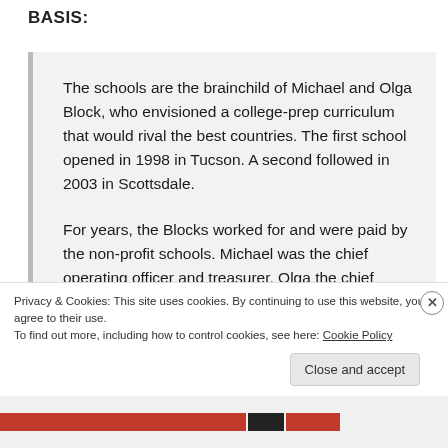BASIS:
The schools are the brainchild of Michael and Olga Block, who envisioned a college-prep curriculum that would rival the best countries. The first school opened in 1998 in Tucson. A second followed in 2003 in Scottsdale.
For years, the Blocks worked for and were paid by the non-profit schools. Michael was the chief operating officer and treasurer, Olga the chief
Privacy & Cookies: This site uses cookies. By continuing to use this website, you agree to their use.
To find out more, including how to control cookies, see here: Cookie Policy
Close and accept